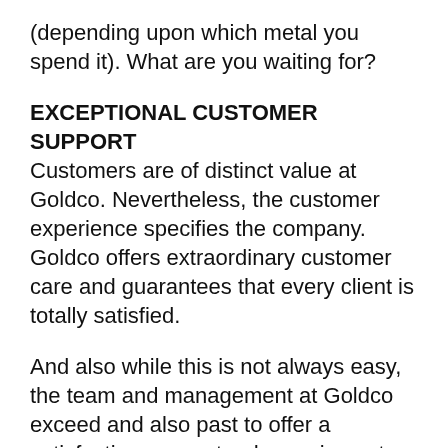(depending upon which metal you spend it). What are you waiting for?
EXCEPTIONAL CUSTOMER SUPPORT
Customers are of distinct value at Goldco. Nevertheless, the customer experience specifies the company. Goldco offers extraordinary customer care and guarantees that every client is totally satisfied.
And also while this is not always easy, the team and management at Goldco exceed and also past to offer a satisfaction-guaranteed experience to all its customers.
LOW FEES
With remarkable service combined with low cost, what extra can an investor ask for?